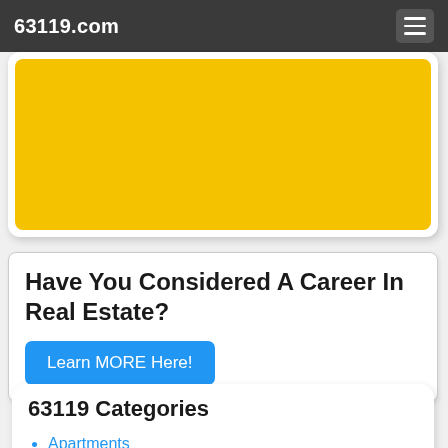63119.com
[Figure (other): Yellow advertisement banner card with rounded corners on white background]
Have You Considered A Career In Real Estate?
Learn MORE Here!
63119 Categories
Apartments
Attractions